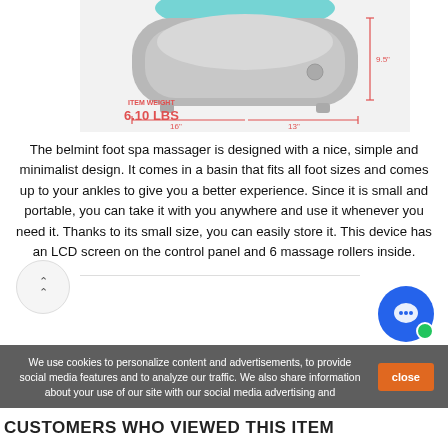[Figure (photo): Product image of belmint foot spa massager with dimension annotations showing 9.5 inch height, 16 inch and 13 inch width, and item weight of 6.10 LBS in red text.]
The belmint foot spa massager is designed with a nice, simple and minimalist design. It comes in a basin that fits all foot sizes and comes up to your ankles to give you a better experience. Since it is small and portable, you can take it with you anywhere and use it whenever you need it. Thanks to its small size, you can easily store it. This device has an LCD screen on the control panel and 6 massage rollers inside.
We use cookies to personalize content and advertisements, to provide social media features and to analyze our traffic. We also share information about your use of our site with our social media advertising and
CUSTOMERS WHO VIEWED THIS ITEM